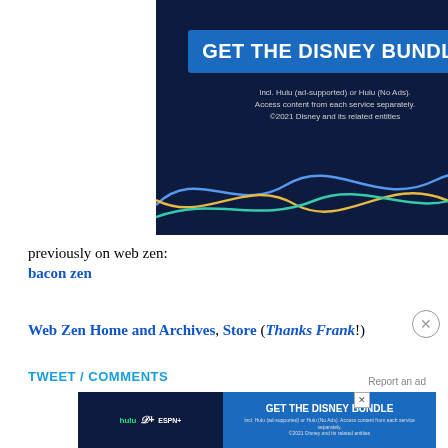[Figure (screenshot): Disney Bundle advertisement banner with dark navy background, blue 'GET THE DISNEY BUNDLE' button, disclaimer text, and colorful wave lines at bottom]
previously on web zen:
bacon zen
Web Zen Home and Archives, Store (Thanks Frank!)
TWEET / COMMENTS
Report an ad
[Figure (screenshot): Second smaller Disney Bundle advertisement banner at bottom of page with hulu, Disney+, ESPN+ logos and GET THE DISNEY BUNDLE button]